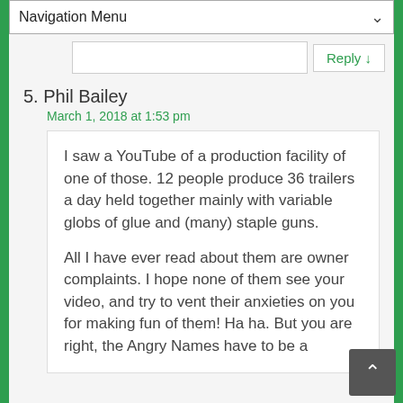Navigation Menu
Reply ↓
5. Phil Bailey
March 1, 2018 at 1:53 pm
I saw a YouTube of a production facility of one of those. 12 people produce 36 trailers a day held together mainly with variable globs of glue and (many) staple guns.

All I have ever read about them are owner complaints. I hope none of them see your video, and try to vent their anxieties on you for making fun of them! Ha ha. But you are right, the Angry Names have to be a